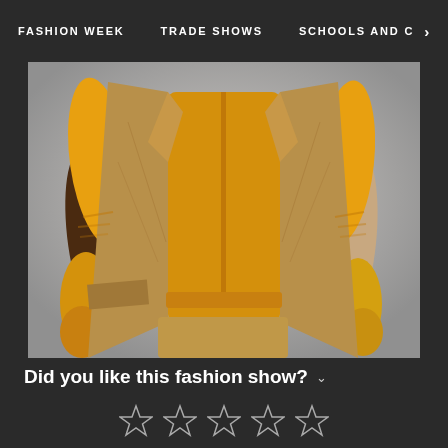FASHION WEEK    TRADE SHOWS    SCHOOLS AND C  >
[Figure (photo): Fashion runway photo: torso of a model wearing a yellow/amber zip-up top with a tan suede open jacket, tan suede wide-leg trousers, and yellow fingerless gloves. The model's arms are at their sides with hands near hips.]
Did you like this fashion show?
[Figure (other): Five star rating icons (empty/outline stars for rating input)]